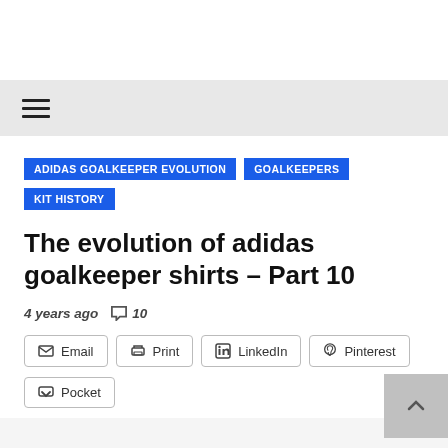ADIDAS GOALKEEPER EVOLUTION  GOALKEEPERS  KIT HISTORY
The evolution of adidas goalkeeper shirts – Part 10
4 years ago  💬 10
Email  Print  LinkedIn  Pinterest  Pocket